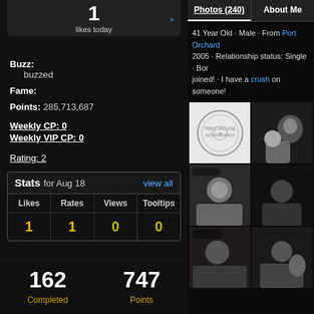1 likes today
Buzz: buzzed
Fame:
Points: 285,713,687
Weekly CP: 0
Weekly VIP CP: 0
Rating: 2
| Likes | Rates | Views | Tooltips |
| --- | --- | --- | --- |
| 1 | 1 | 0 | 0 |
Stats for Aug 18  view all
162 Completed  747 Points
Photos (240)  About Me
41 Year Old · Male · From Port Orchard 2005 · Relationship status: Single · Bor joined! · I have a crush on someone!
[Figure (photo): Logo/seal circular stamp in grayscale on white background]
[Figure (photo): Person holding teddy bear, partial view]
[Figure (photo): Man in black cap smiling]
[Figure (photo): Person in dark setting]
[Figure (photo): Person silhouette placeholder]
[Figure (photo): Person in cap in vehicle]
[Figure (photo): Two people together]